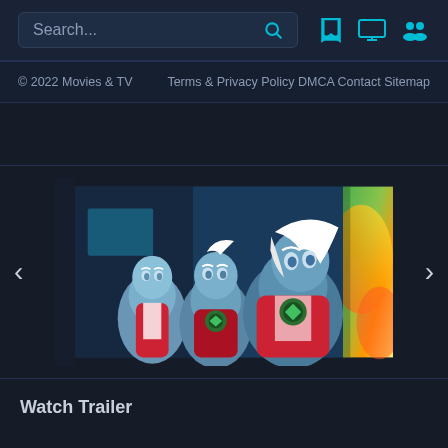Search... [search icon] [bookmark icon] [monitor icon] [people icon]
© 2022 Movies & TV    Terms & Privacy Policy DMCA Contact Sitemap
[Figure (screenshot): Carousel showing animated superhero characters (Green Lantern style) in center, with a colorful abstract image partially visible on the right. Left and right navigation arrows on sides.]
Watch Trailer
[Figure (other): Play button circle for trailer]